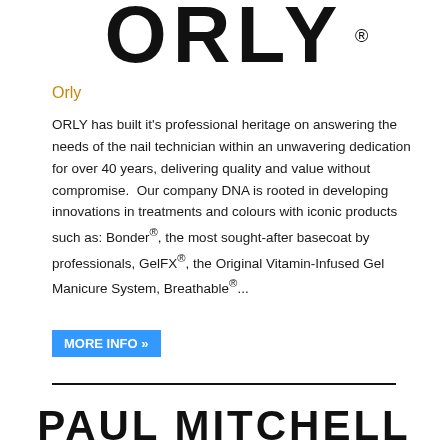[Figure (logo): ORLY brand logo in large black letters with registered trademark symbol]
Orly
ORLY has built it's professional heritage on answering the needs of the nail technician within an unwavering dedication for over 40 years, delivering quality and value without compromise.  Our company DNA is rooted in developing innovations in treatments and colours with iconic products such as: Bonder®, the most sought-after basecoat by professionals, GelFX®, the Original Vitamin-Infused Gel Manicure System, Breathable®...
MORE INFO »
[Figure (logo): Paul Mitchell brand logo in large black letters]